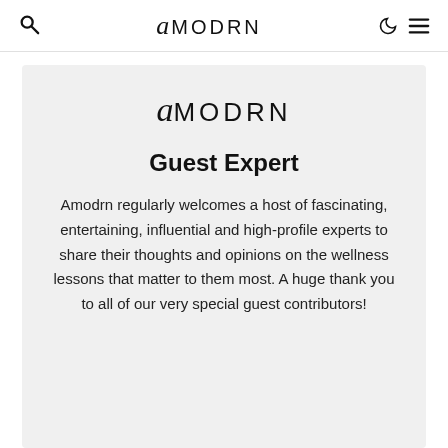🔍  AMODRN  ☽ ≡
[Figure (logo): AMODRN brand logo with stylized italic 'a' followed by 'MODRN' in uppercase sans-serif letters]
Guest Expert
Amodrn regularly welcomes a host of fascinating, entertaining, influential and high-profile experts to share their thoughts and opinions on the wellness lessons that matter to them most. A huge thank you to all of our very special guest contributors!